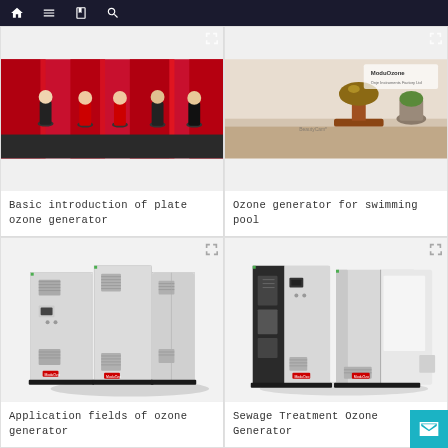Navigation bar with home, menu, book, and search icons
[Figure (photo): Photo of people in front of red fabric/curtain background at a ceremony event]
Basic introduction of plate ozone generator
[Figure (photo): Photo of ModuOzone award trophy on a wooden base, BeautyCam watermark visible]
Ozone generator for swimming pool
[Figure (photo): Industrial ozone generator unit - large grey cabinet-style equipment with ventilation panels and ModuOzone logo]
Application fields of ozone generator
[Figure (photo): Open industrial ozone generator cabinet showing internal components and panels, ModuOzone branding]
Sewage Treatment Ozone Generator